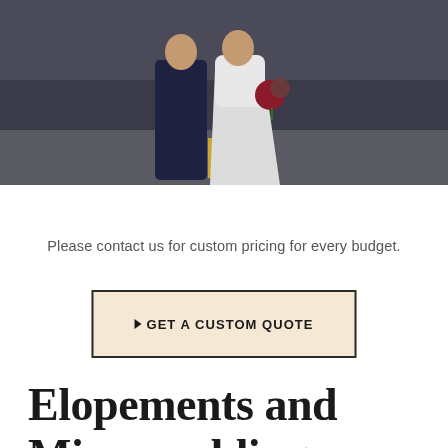[Figure (photo): Wedding couple standing on a road — groom in dark navy suit, bride in white gown holding a bouquet with red flowers]
Please contact us for custom pricing for every budget.
▶ GET A CUSTOM QUOTE
Elopements and Microweddings